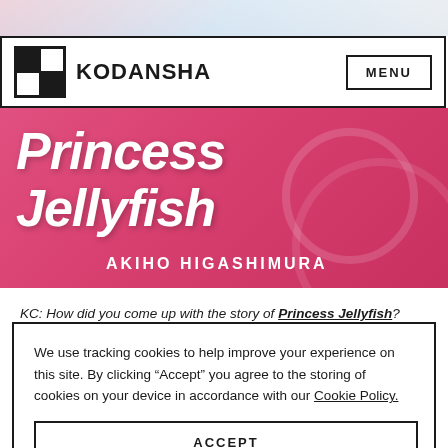[Figure (illustration): Top strip showing partial manga/anime style illustration with soft pink, blue and white tones]
KODANSHA   MENU
[Figure (illustration): Princess Jellyfish banner with pink/magenta gradient background, white italic title text and author name AKIHO HIGASHIMURA]
KC: How did you come up with the story of Princess Jellyfish?
AH: I loved shojo manga since I was little. So when I started to
We use tracking cookies to help improve your experience on this site. By clicking “Accept” you agree to the storing of cookies on your device in accordance with our Cookie Policy.
ACCEPT
MANAGE COOKIES
based on my otaku girl friends. When I was a student I was also